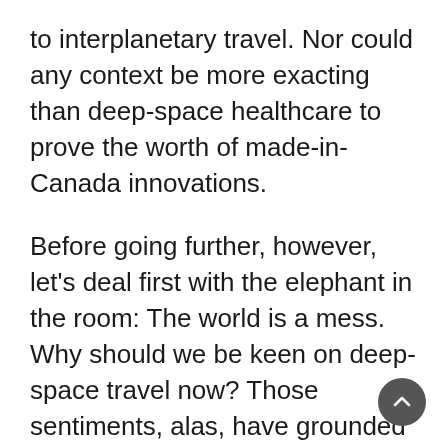to interplanetary travel. Nor could any context be more exacting than deep-space healthcare to prove the worth of made-in-Canada innovations.
Before going further, however, let's deal first with the elephant in the room: The world is a mess. Why should we be keen on deep-space travel now? Those sentiments, alas, have grounded our species for decades. A reminder: The first human landing on the Moon took place 52 years ago, in July 1969, and the last time we walked on the Moon was in December 1972.